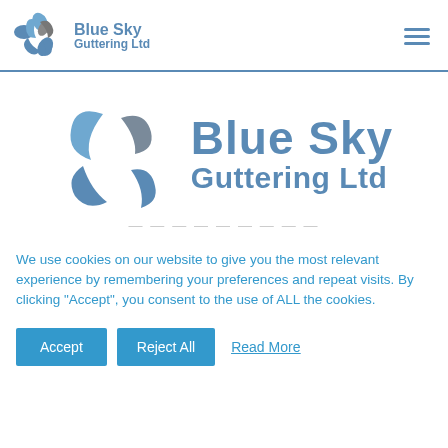[Figure (logo): Blue Sky Guttering Ltd logo - small version in header navigation bar with hamburger menu icon]
[Figure (logo): Blue Sky Guttering Ltd logo - large centered version with spinning droplet icon in blue and grey]
We use cookies on our website to give you the most relevant experience by remembering your preferences and repeat visits. By clicking “Accept”, you consent to the use of ALL the cookies.
Accept  Reject All  Read More